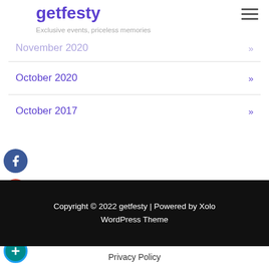getfesty — Exclusive events, priceless memories
November 2020 »
October 2020 »
October 2017 »
[Figure (illustration): Social media icons: Facebook (blue circle with f), Google+ (red circle with g+), Twitter (cyan circle with bird), Add/Plus (teal circle with +)]
Copyright © 2022 getfesty | Powered by Xolo WordPress Theme
Privacy Policy